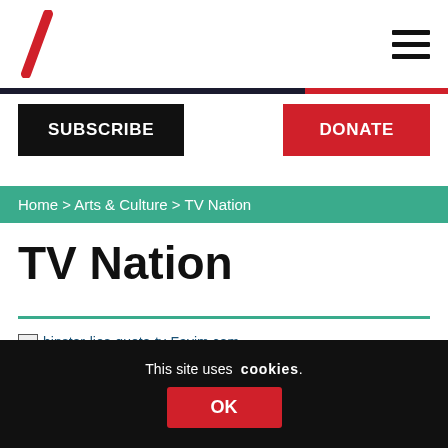Logo and navigation header with hamburger menu
SUBSCRIBE
DONATE
Home > Arts & Culture > TV Nation
TV Nation
[Figure (other): Broken image placeholder link: hipster-lies-quote-tv-Favim.com-]
This site uses cookies. OK